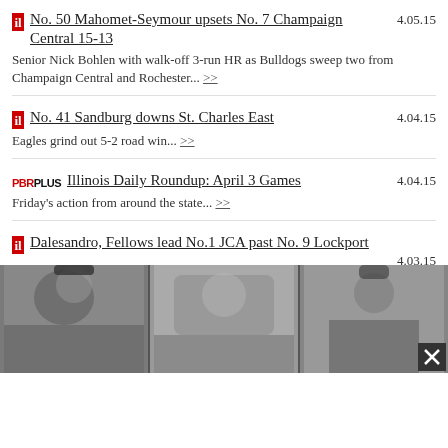No. 50 Mahomet-Seymour upsets No. 7 Champaign Central 15-13 | 4.05.15 | Senior Nick Bohlen with walk-off 3-run HR as Bulldogs sweep two from Champaign Central and Rochester... >>
No. 41 Sandburg downs St. Charles East | 4.04.15 | Eagles grind out 5-2 road win... >>
Illinois Daily Roundup: April 3 Games | 4.04.15 | Friday's action from around the state... >>
Dalesandro, Fellows lead No.1 JCA past No. 9 Lockport | 4.03.15 | Hilltoppers pound out 12 hits and 12 runs in WJOL Tournament opener... >>
Illinois Daily Roundup: April 2 Games | 4.03.15 | No. 8 Edwardsville wins Southwestern Conference battle over No. 16 Alton 6-1... >>
[Figure (photo): Three-panel photo strip showing baseball players in uniform, partially visible at the bottom of the page, with a close button (X) in the bottom right corner.]